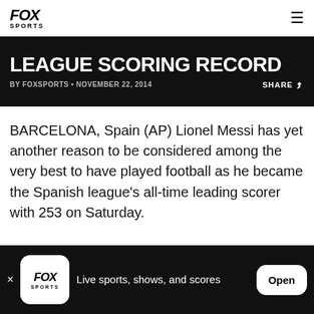FOX SPORTS
LEAGUE SCORING RECORD
BY FOXSPORTS • NOVEMBER 22, 2014   SHARE
BARCELONA, Spain (AP) Lionel Messi has yet another reason to be considered among the very best to have played football as he became the Spanish league's all-time leading scorer with 253 on Saturday.
× FOX SPORTS Live sports, shows, and scores Open